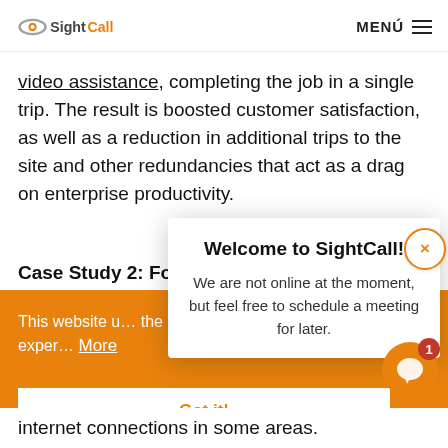SightCall — MENÚ
video assistance, completing the job in a single trip. The result is boosted customer satisfaction, as well as a reduction in additional trips to the site and other redundancies that act as a drag on enterprise productivity.
Case Study 2: For complex wind turbine issu…
This website u… the best exper… More
Welcome to SightCall! We are not online at the moment, but feel free to schedule a meeting for later.
Got it!
internet connections in some areas.